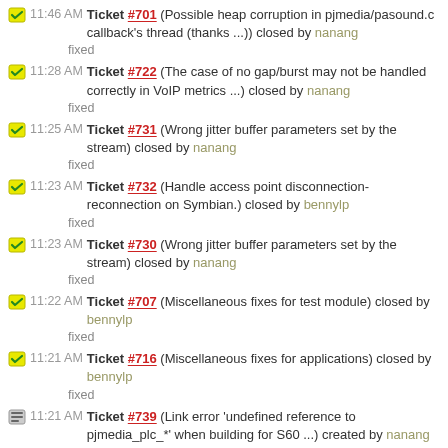11:46 AM Ticket #701 (Possible heap corruption in pjmedia/pasound.c callback's thread (thanks ...)) closed by nanang
fixed
11:28 AM Ticket #722 (The case of no gap/burst may not be handled correctly in VoIP metrics ...) closed by nanang
fixed
11:25 AM Ticket #731 (Wrong jitter buffer parameters set by the stream) closed by nanang
fixed
11:23 AM Ticket #732 (Handle access point disconnection-reconnection on Symbian.) closed by bennylp
fixed
11:23 AM Ticket #730 (Wrong jitter buffer parameters set by the stream) closed by nanang
fixed
11:22 AM Ticket #707 (Miscellaneous fixes for test module) closed by bennylp
fixed
11:21 AM Ticket #716 (Miscellaneous fixes for applications) closed by bennylp
fixed
11:21 AM Ticket #739 (Link error 'undefined reference to pjmedia_plc_*' when building for S60 ...) created by nanang